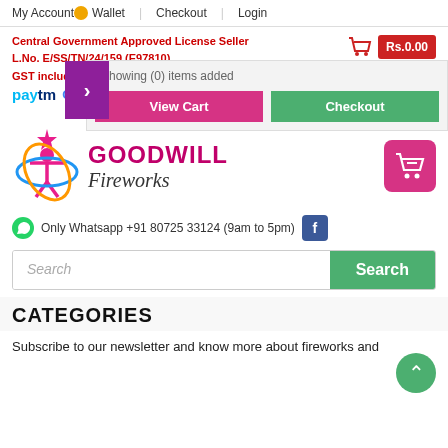My Account | Wallet | Checkout | Login
Central Government Approved License Seller
L.No. E/SS/TN/24/159 (E97810)
GST included in product price
Paytm  G Pay  PhonePe
Showing (0) items added
View Cart
Checkout
[Figure (logo): Goodwill Fireworks logo with colorful figure and orange swirl]
Only Whatsapp +91 80725 33124 (9am to 5pm)
Search
CATEGORIES
Subscribe to our newsletter and know more about fireworks and